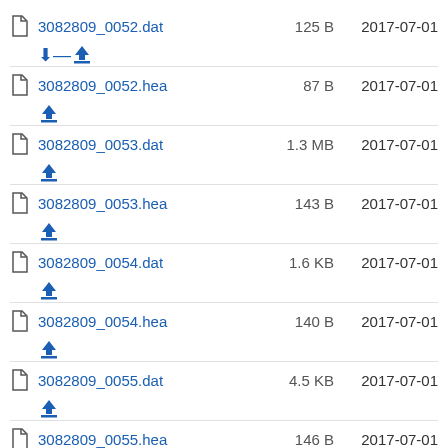3082809_0052.dat  125 B  2017-07-01
3082809_0052.hea  87 B  2017-07-01
3082809_0053.dat  1.3 MB  2017-07-01
3082809_0053.hea  143 B  2017-07-01
3082809_0054.dat  1.6 KB  2017-07-01
3082809_0054.hea  140 B  2017-07-01
3082809_0055.dat  4.5 KB  2017-07-01
3082809_0055.hea  146 B  2017-07-01